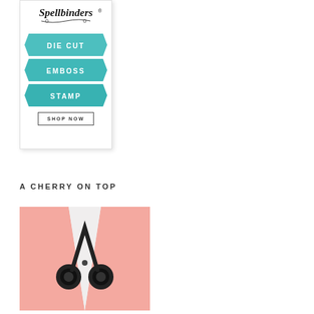[Figure (illustration): Spellbinders advertisement banner: logo at top, three teal ribbon banners reading DIE CUT, EMBOSS, STAMP, and a SHOP NOW button at the bottom]
A CHERRY ON TOP
[Figure (photo): Photo of a pair of black scissors against pink/peach fabric or paper folds on a white background]